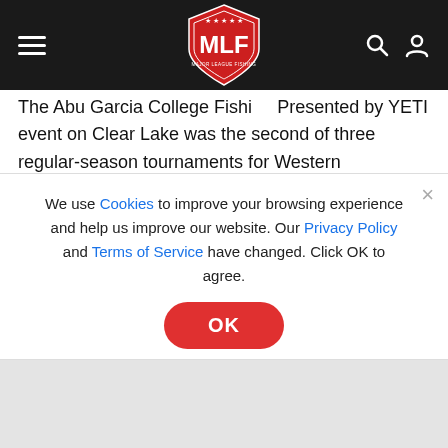MLF navigation bar with hamburger menu, MLF logo, search and user icons
The Abu Garcia College Fishing Presented by YETI event on Clear Lake was the second of three regular-season tournaments for Western Conference anglers. The next event for College Fishing anglers will be the Abu Garcia College Fishing Presented by YETI event Smith Mountain Lake, June 3 in Huddleston, Virginia.
MLF College Fishing teams compete in three regular-season tournaments in one of five conferences – Central, Northern, Southern, Southeastern and Western. The Top 10 teams from
We use Cookies to improve your browsing experience and help us improve our website. Our Privacy Policy and Terms of Service have changed. Click OK to agree.
[Figure (other): OK button - red rounded button with OK text in white]